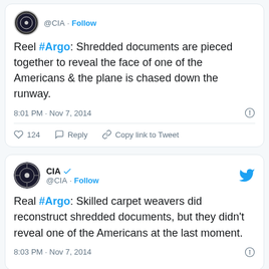[Figure (screenshot): Top tweet card: @CIA account with partial header (no name visible, just handle and Follow), tweet text about Reel #Argo shredded documents scene, timestamp 8:01 PM Nov 7 2014, 124 likes, Reply, Copy link to Tweet actions]
[Figure (screenshot): Bottom tweet card: CIA @CIA verified account, full header with CIA logo, blue verified checkmark, Follow, Twitter bird icon. Tweet text about Real #Argo skilled carpet weavers reconstructing shredded documents. Timestamp 8:03 PM Nov 7 2014.]